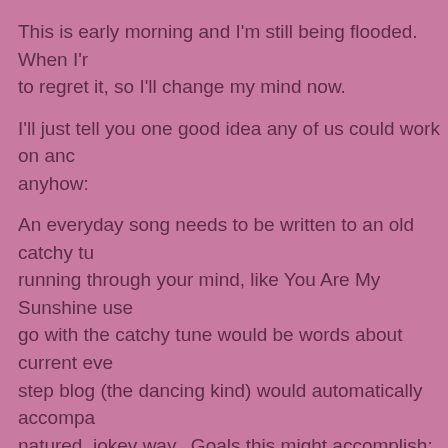This is early morning and I'm still being flooded.  When I'm to regret it, so I'll change my mind now.
I'll just tell you one good idea any of us could work on and anyhow:
An everyday song needs to be written to an old catchy tune running through your mind, like You Are My Sunshine use go with the catchy tune would be words about current events step blog (the dancing kind) would automatically accompa natured, jokey way.  Goals this might accomplish:
Prevent a heart attack
Keep us in a good mood
Since it doesn't have to be sung out loud, it can bo
Can numb you to what's being thrown your way
Hopefully prevent you from being gunned down
May develop a talent you never knew you had
Help us love one another or at least the innocent b